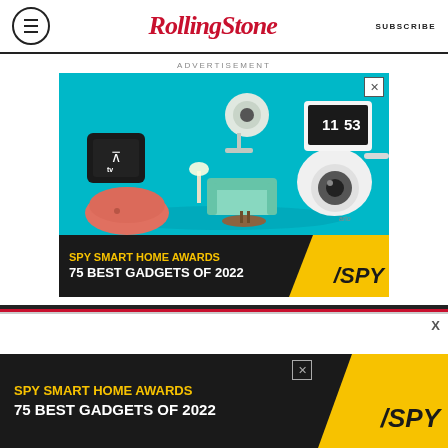RollingStone  SUBSCRIBE
ADVERTISEMENT
[Figure (photo): Advertisement banner for SPY Smart Home Awards - 75 Best Gadgets of 2022, showing smart home devices including Apple TV, Google Nest Mini, a security camera, and a smart display against a teal background]
[Figure (photo): Bottom sticky advertisement banner for SPY Smart Home Awards - 75 Best Gadgets of 2022 with black background and yellow SPY logo]